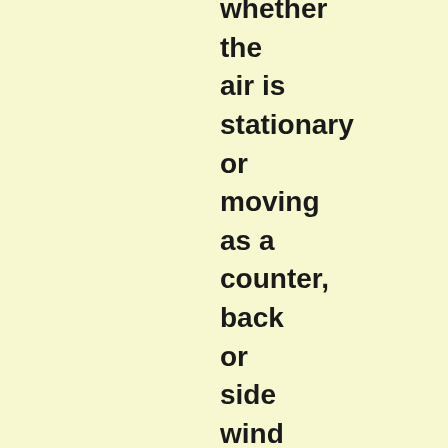whether the air is stationary or moving as a counter, back or side wind above the ground. If an aircraft is too slow against